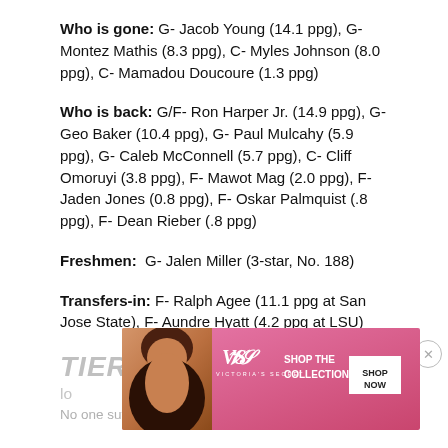Who is gone: G- Jacob Young (14.1 ppg), G- Montez Mathis (8.3 ppg), C- Myles Johnson (8.0 ppg), C- Mamadou Doucoure (1.3 ppg)
Who is back: G/F- Ron Harper Jr. (14.9 ppg), G- Geo Baker (10.4 ppg), G- Paul Mulcahy (5.9 ppg), G- Caleb McConnell (5.7 ppg), C- Cliff Omoruyi (3.8 ppg), F- Mawot Mag (2.0 ppg), F- Jaden Jones (0.8 ppg), F- Oskar Palmquist (.8 ppg), F- Dean Rieber (.8 ppg)
Freshmen: G- Jalen Miller (3-star, No. 188)
Transfers-in: F- Ralph Agee (11.1 ppg at San Jose State), F- Aundre Hyatt (4.2 ppg at LSU)
TIER TWO
lo
No one suffered greater offseason losses than low...
[Figure (advertisement): Victoria's Secret advertisement banner with model, VS logo, 'SHOP THE COLLECTION' text, and 'SHOP NOW' button]